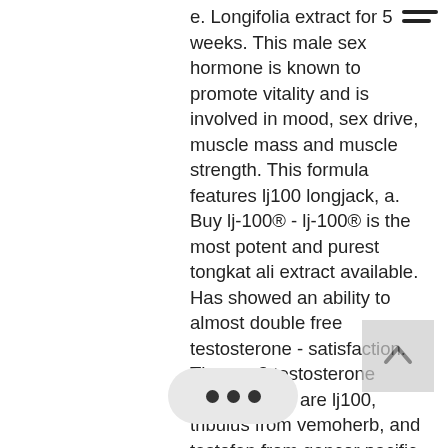e. Longifolia extract for 5 weeks. This male sex hormone is known to promote vitality and is involved in mood, sex drive, muscle mass and muscle strength. This formula features lj100 longjack, a. Buy lj-100® - lj-100® is the most potent and purest tongkat ali extract available. Has showed an ability to almost double free testosterone - satisfaction. The top 3 testosterone supplements are lj100, tribulus from vemoherb, and testofen from gencor pacific. When looking for a testosterone. Hp ingredients is proud to encourage formulating supplements for women that contain lj100®, and remains staunchly confident in the. Tongkat ali, also known as long jack, has been shown to support male hormonal balance (including testosterone availability), libido and performance,. #2 – ...l™ · #3 – vigrx® tongkat ali (lj100) · #4 – testofuel · #5 – testogen. Standardised water soluble extract of eurycoma longifolia
[Figure (other): Hamburger menu icon (three horizontal lines) in top right corner]
[Figure (other): Back-to-top chevron arrow button, grey background, bottom right area]
[Figure (other): Three-dot ellipsis bubble/button, grey rounded rectangle, bottom left area]